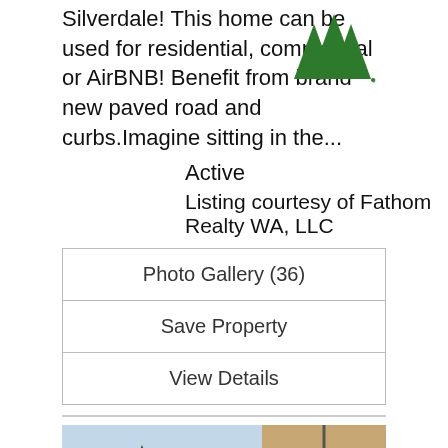Silverdale! This home can be used for residential, commercial or AirBNB! Benefit from brand new paved road and curbs.Imagine sitting in the...
[Figure (logo): Green tree/forest logo mark with three triangular tree shapes]
Active
Listing courtesy of Fathom Realty WA, LLC
| Photo Gallery (36) |
| Save Property |
| View Details |
[Figure (photo): Outdoor photo showing trees, a utility pole, blue sky, and what appears to be a patio umbrella in the foreground]